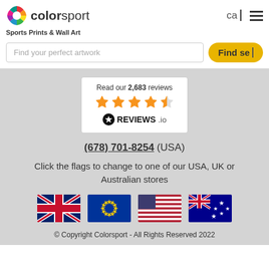[Figure (logo): Colorsport logo with colorful pinwheel icon and text 'colorsport']
Sports Prints & Wall Art
Find your perfect artwork
Find search button
[Figure (other): Reviews.io widget showing 'Read our 2,683 reviews' with 4.5 orange stars and REVIEWS.io logo]
(678) 701-8254 (USA)
Click the flags to change to one of our USA, UK or Australian stores
[Figure (other): Four country flags: UK, EU, USA, Australia]
© Copyright Colorsport - All Rights Reserved 2022